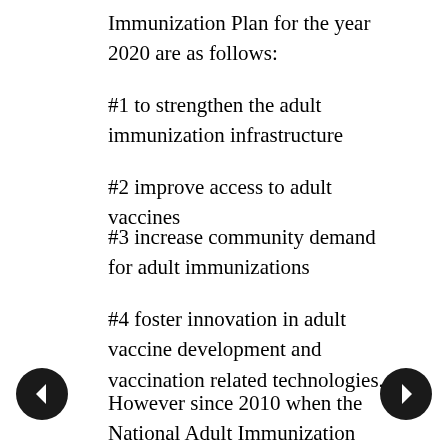Immunization Plan for the year 2020 are as follows:
#1 to strengthen the adult immunization infrastructure
#2 improve access to adult vaccines
#3 increase community demand for adult immunizations
#4 foster innovation in adult vaccine development and vaccination related technologies.
However since 2010 when the National Adult Immunization Plan was first introduced efforts to improve adult immunization have been in their own opinion disappointing necessitating the issuance of the